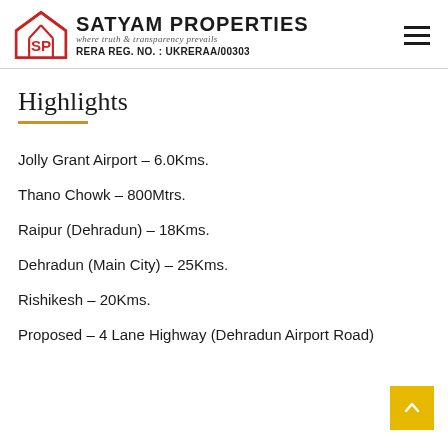SATYAM PROPERTIES — where truth & transparency prevails — RERA REG. NO. : UKRERAA/00303
Highlights
Jolly Grant Airport – 6.0Kms.
Thano Chowk – 800Mtrs.
Raipur (Dehradun) – 18Kms.
Dehradun (Main City) – 25Kms.
Rishikesh – 20Kms.
Proposed – 4 Lane Highway (Dehradun Airport Road)